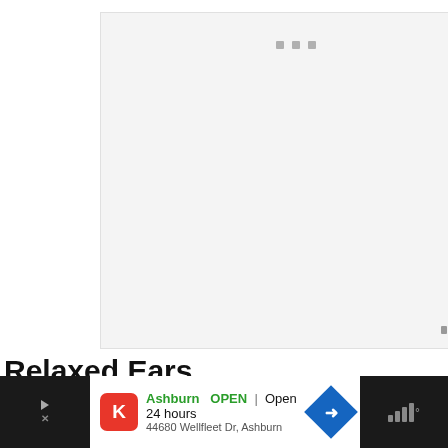[Figure (other): A light gray media/video placeholder box with three small square dots near the top center and a weather/signal bar icon in the bottom right corner.]
Relaxed Ears
[Figure (other): Advertisement banner: Ashburn OPEN | Open 24 hours, 44680 Wellfleet Dr, Ashburn, with KFC logo and navigation arrow icon, on dark background with weather icon on right side.]